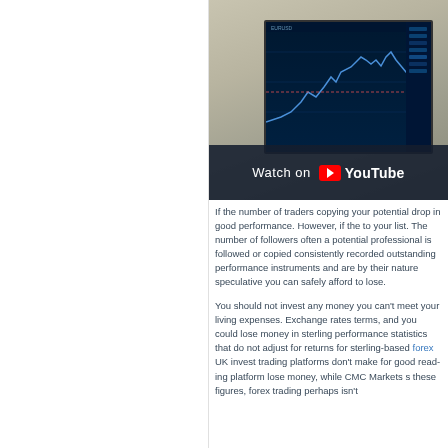[Figure (screenshot): YouTube video thumbnail showing a laptop with forex trading charts on screen, with 'Watch on YouTube' overlay bar at the bottom]
If the number of traders copying your potential drop in good performance. However, if the to your list. The number of followers often a potential professional is followed or copied consistently recorded outstanding performance instruments and are by their nature speculative you can safely afford to lose.
You should not invest any money you can't meet your living expenses. Exchange rates terms, and you could lose money in sterling performance statistics that do not adjust for returns for sterling-based forex UK invest trading platforms don't make for good reading platform lose money, while CMC Markets these figures, forex trading perhaps isn't